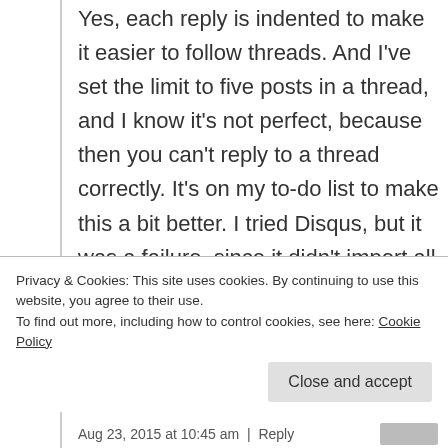Yes, each reply is indented to make it easier to follow threads. And I've set the limit to five posts in a thread, and I know it's not perfect, because then you can't reply to a thread correctly. It's on my to-do list to make this a bit better. I tried Disqus, but it was a failure, since it didn't import all my comments correctly. And, it would be another element slowing down page
Privacy & Cookies: This site uses cookies. By continuing to use this website, you agree to their use.
To find out more, including how to control cookies, see here: Cookie Policy
Close and accept
Aug 23, 2015 at 10:45 am  |  Reply